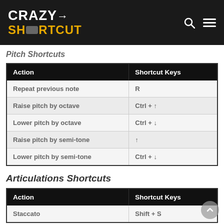CRAZY SHORTCUT
Pitch Shortcuts
| Action | Shortcut Keys |
| --- | --- |
| Repeat previous note | R |
| Raise pitch by octave | Ctrl + ↑ |
| Lower pitch by octave | Ctrl + ↓ |
| Raise pitch by semi-tone | ↑ |
| Lower pitch by semi-tone | Ctrl + ↓ |
Articulations Shortcuts
| Action | Shortcut Keys |
| --- | --- |
| Staccato | Shift + S |